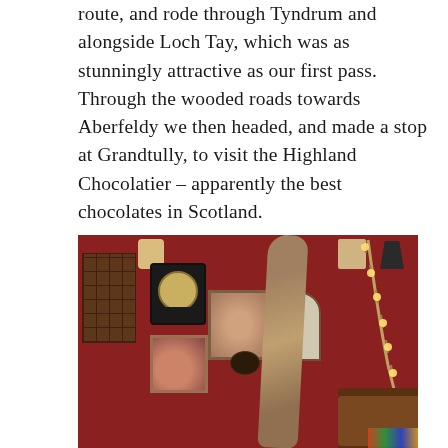route, and rode through Tyndrum and alongside Loch Tay, which was as stunningly attractive as our first pass. Through the wooded roads towards Aberfeldy we then headed, and made a stop at Grandtully, to visit the Highland Chocolatier – apparently the best chocolates in Scotland.
[Figure (photo): Interior of the Highland Chocolatier shop in Grandtully, Scotland. Red-painted walls decorated with framed artwork, an ornate cuckoo clock, a wooden grid display cabinet, arch-shaped mirrors, and a butterfly display. A large driftwood branch sculpture stands in the center-right of the image with fairy lights draped on it along a staircase. A brown leather sofa arm is visible in the lower right corner. Pendant ceiling lights hang from above.]